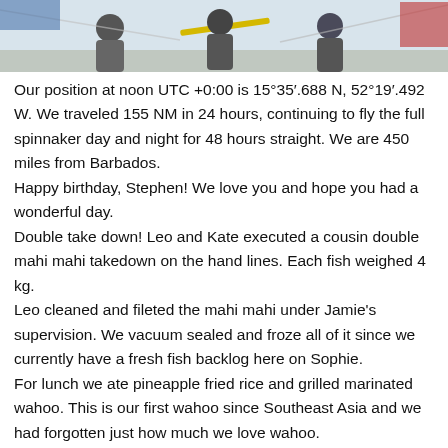[Figure (photo): Photo strip at top of page showing people on a boat deck, partially cropped]
Our position at noon UTC +0:00 is 15°35′.688 N, 52°19′.492 W. We traveled 155 NM in 24 hours, continuing to fly the full spinnaker day and night for 48 hours straight. We are 450 miles from Barbados.
Happy birthday, Stephen! We love you and hope you had a wonderful day.
Double take down! Leo and Kate executed a cousin double mahi mahi takedown on the hand lines. Each fish weighed 4 kg.
Leo cleaned and fileted the mahi mahi under Jamie's supervision. We vacuum sealed and froze all of it since we currently have a fresh fish backlog here on Sophie.
For lunch we ate pineapple fried rice and grilled marinated wahoo. This is our first wahoo since Southeast Asia and we had forgotten just how much we love wahoo.